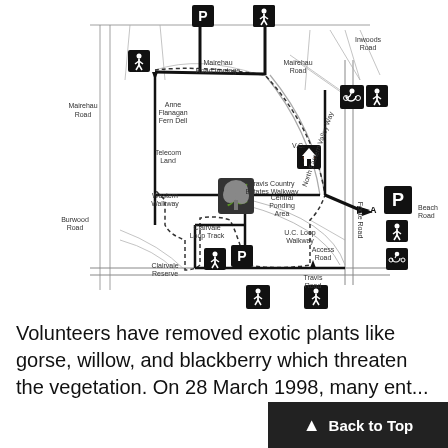[Figure (map): Trail and walkway map showing paths, parking areas, walkway signs, and road labels including Mairehau Road, Inwoods Road, Beach Road, Travis Road, Burwood Road, Clairvale Reserve, Western Walkway, Travis Country Estates Walkway, U.C. Loop Walkway, Clairvale Loop Track, Central Ponding Area, Telecom Land, and various pedestrian/cycling/parking icons.]
Volunteers have removed exotic plants like gorse, willow, and blackberry which threaten the vegetation. On 28 March 1998, many ent...